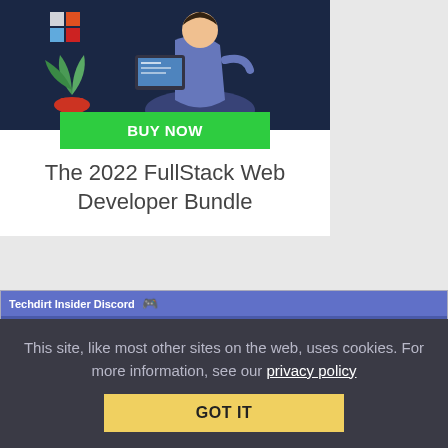[Figure (illustration): Dark navy background illustration of a person sitting and working at a computer/design interface with colored blocks and a plant]
BUY NOW
The 2022 FullStack Web Developer Bundle
Techdirt Insider Discord 🎮
The latest chatter on the Techdirt Insider Discord channel...
It involves video games and trademarks, so it's your beat
Then again, it involves warner bros. so it could be @Bode's wheelhouse as well.
This site, like most other sites on the web, uses cookies. For more information, see our privacy policy
GOT IT